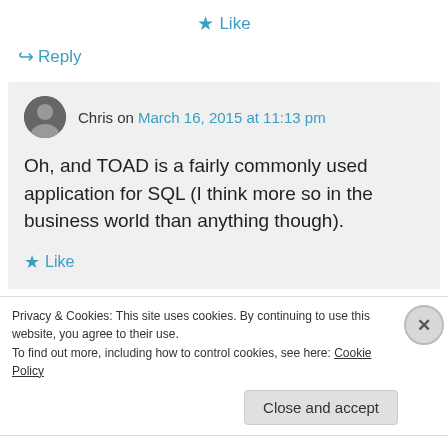★ Like
↪ Reply
Chris on March 16, 2015 at 11:13 pm
Oh, and TOAD is a fairly commonly used application for SQL (I think more so in the business world than anything though).
★ Like
Privacy & Cookies: This site uses cookies. By continuing to use this website, you agree to their use.
To find out more, including how to control cookies, see here: Cookie Policy
Close and accept